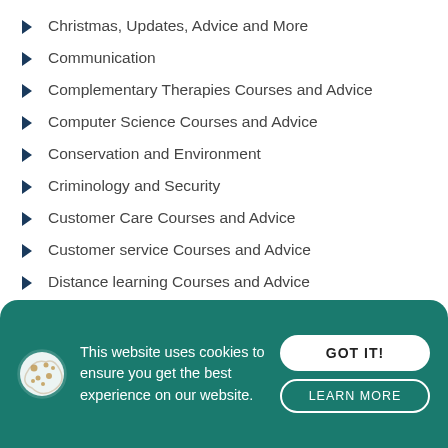Christmas, Updates, Advice and More
Communication
Complementary Therapies Courses and Advice
Computer Science Courses and Advice
Conservation and Environment
Criminology and Security
Customer Care Courses and Advice
Customer service Courses and Advice
Distance learning Courses and Advice
Doctor Courses and Advice
Dog grooming Courses and Advice
Dog Walking
This website uses cookies to ensure you get the best experience on our website.